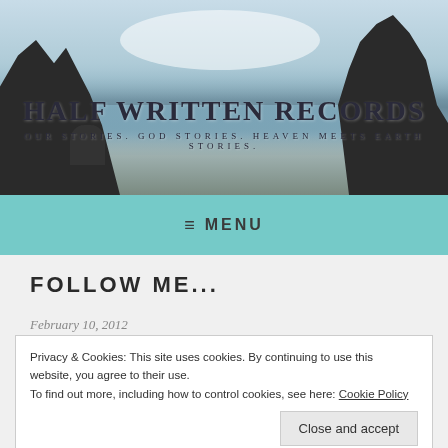[Figure (photo): Coastal beach scene with large rock formations on left and right, water reflection in middle, cloudy sky above, with site title and subtitle overlaid]
HALF WRITTEN RECORDS
OUR STORIES. GOD STORIES. HEAVEN MEETS EARTH STORIES.
≡ MENU
FOLLOW ME...
February 10, 2012
Privacy & Cookies: This site uses cookies. By continuing to use this website, you agree to their use.
To find out more, including how to control cookies, see here: Cookie Policy
Close and accept